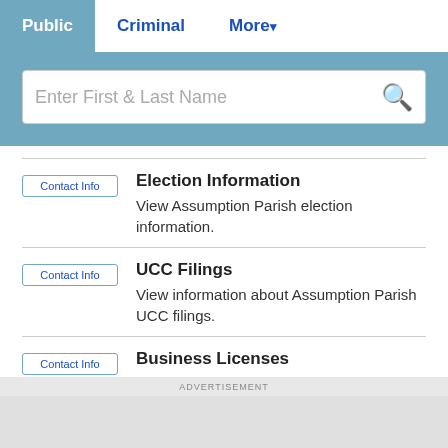Public | Criminal | More
[Figure (screenshot): Search bar with placeholder text 'Enter First & Last Name' and a search icon]
Contact Info | Election Information - View Assumption Parish election information.
Contact Info | UCC Filings - View information about Assumption Parish UCC filings.
Contact Info | Business Licenses - View information about Assumption Parish
ADVERTISEMENT